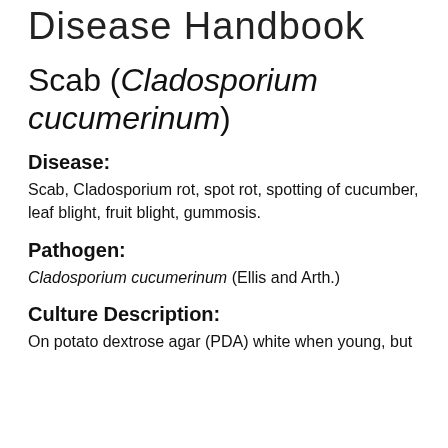Disease Handbook
Scab (Cladosporium cucumerinum)
Disease:
Scab, Cladosporium rot, spot rot, spotting of cucumber, leaf blight, fruit blight, gummosis.
Pathogen:
Cladosporium cucumerinum (Ellis and Arth.)
Culture Description:
On potato dextrose agar (PDA) white when young, but